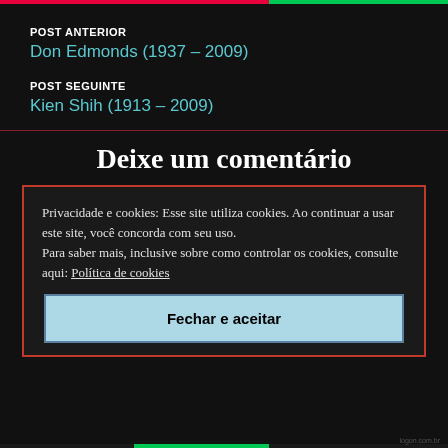POST ANTERIOR
Don Edmonds (1937 – 2009)
POST SEGUINTE
Kien Shih (1913 – 2009)
Deixe um comentário
Privacidade e cookies: Esse site utiliza cookies. Ao continuar a usar este site, você concorda com seu uso.
Para saber mais, inclusive sobre como controlar os cookies, consulte aqui: Política de cookies
Fechar e aceitar